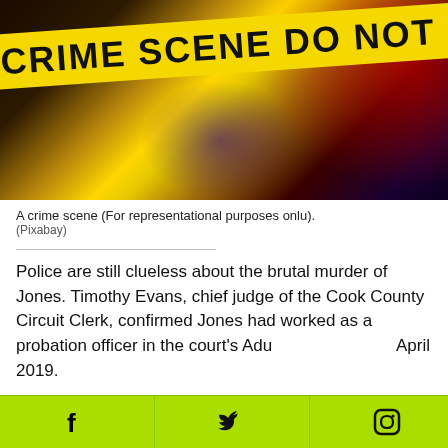[Figure (photo): Crime scene tape reading 'CRIME SCENE DO NOT CROSS' against a dark background with red and purple light glows]
A crime scene (For representational purposes onlu).
(Pixabay)
Police are still clueless about the brutal murder of Jones. Timothy Evans, chief judge of the Cook County Circuit Clerk, confirmed Jones had worked as a probation officer in the court's Adu April 2019.
Jones' colleagues and ne